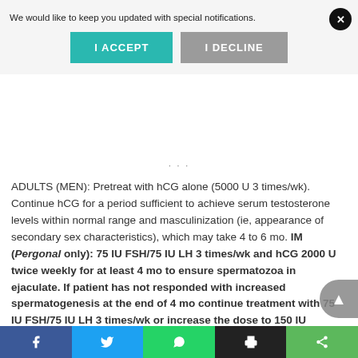We would like to keep you updated with special notifications.
I ACCEPT
I DECLINE
ADULTS (MEN): Pretreat with hCG alone (5000 U 3 times/wk). Continue hCG for a period sufficient to achieve serum testosterone levels within normal range and masculinization (ie, appearance of secondary sex characteristics), which may take 4 to 6 mo. IM (Pergonal only): 75 IU FSH/75 IU LH 3 times/wk and hCG 2000 U twice weekly for at least 4 mo to ensure spermatozoa in ejaculate. If patient has not responded with increased spermatogenesis at the end of 4 mo continue treatment with 75 IU FSH/75 IU LH 3 times/wk or increase the dose to 150 IU FSH/150 IU